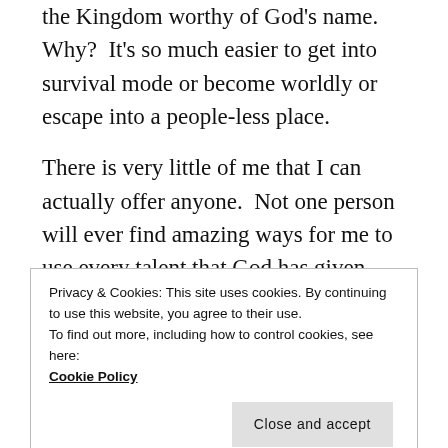the Kingdom worthy of God's name. Why? It's so much easier to get into survival mode or become worldly or escape into a people-less place.
There is very little of me that I can actually offer anyone. Not one person will ever find amazing ways for me to use every talent that God has given me. Not one person will truly appreciate every little thing about you. That is, no one except the One who made you. The One who made me knows every nuance about me and wants to. The Master and Creator of the universe cares deeply for me and you
Privacy & Cookies: This site uses cookies. By continuing to use this website, you agree to their use. To find out more, including how to control cookies, see here: Cookie Policy
Close and accept
to God. 😉 It's simple. You. Just. Let. Go. Of You.